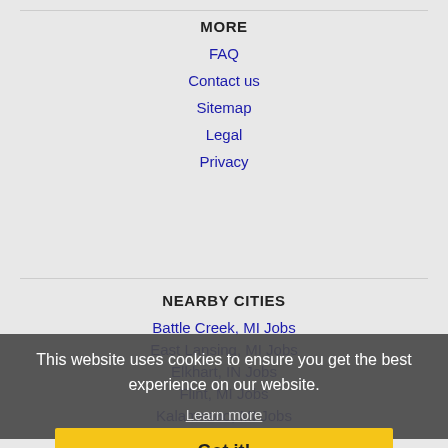MORE
FAQ
Contact us
Sitemap
Legal
Privacy
NEARBY CITIES
Battle Creek, MI Jobs
East Lansing, MI Jobs
Elkhart, IN Jobs
Flint, MI Jobs
Kalamazoo, MI Jobs
Kentwood, MI Jobs
Lansing, MI Jobs
Midland, MI Jobs
This website uses cookies to ensure you get the best experience on our website. Learn more
Got it!